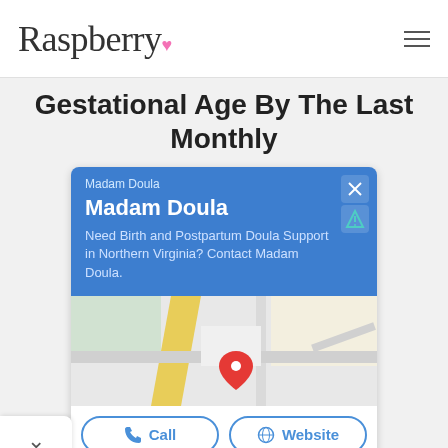Raspberry
Gestational Age By The Last Monthly
[Figure (screenshot): Google Maps ad card for Madam Doula showing a blue header with business name 'Madam Doula', description 'Need Birth and Postpartum Doula Support in Northern Virginia? Contact Madam Doula.', a map view with a red location pin, and two buttons: Call and Website]
[Figure (advertisement): Hair Cuttery advertisement: yellow square logo with HC initials, text 'Time For a Trim? Hair Cuttery' and a blue diamond turn arrow icon]